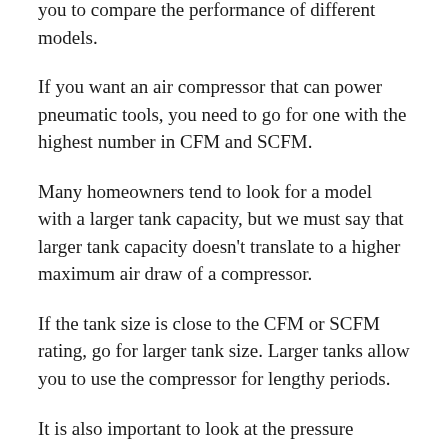you to compare the performance of different models.
If you want an air compressor that can power pneumatic tools, you need to go for one with the highest number in CFM and SCFM.
Many homeowners tend to look for a model with a larger tank capacity, but we must say that larger tank capacity doesn’t translate to a higher maximum air draw of a compressor.
If the tank size is close to the CFM or SCFM rating, go for larger tank size. Larger tanks allow you to use the compressor for lengthy periods.
It is also important to look at the pressure measurement when evaluating CFM and SCFM.